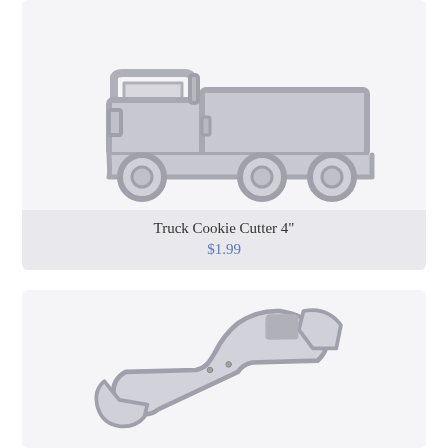[Figure (photo): A metal truck-shaped cookie cutter, silver/grey colored, showing a side profile of a truck with cab and trailer sections.]
Truck Cookie Cutter 4"
$1.99
[Figure (photo): A metal wrench-shaped cookie cutter, silver/white colored, with a small American flag sticker label attached near the top end.]